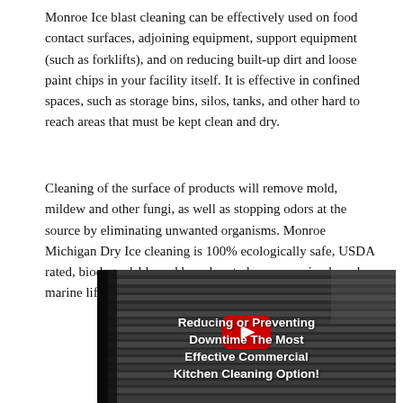Monroe Ice blast cleaning can be effectively used on food contact surfaces, adjoining equipment, support equipment (such as forklifts), and on reducing built-up dirt and loose paint chips in your facility itself. It is effective in confined spaces, such as storage bins, silos, tanks, and other hard to reach areas that must be kept clean and dry.
Cleaning of the surface of products will remove mold, mildew and other fungi, as well as stopping odors at the source by eliminating unwanted organisms. Monroe Michigan Dry Ice cleaning is 100% ecologically safe, USDA rated, biodegradable and harmless to humans, animals and marine life.
[Figure (screenshot): YouTube video thumbnail showing conveyor belt machinery with overlay text: 'Reducing or Preventing Downtime The Most Effective Commercial Kitchen Cleaning Option!' and a YouTube play button.]